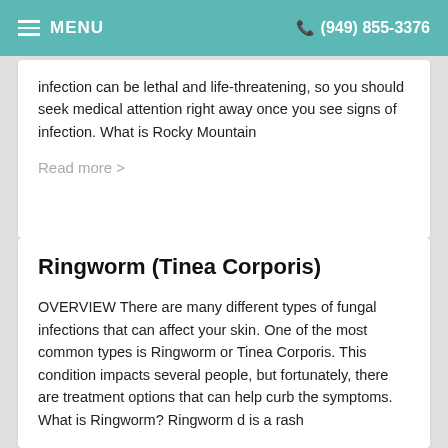MENU  (949) 855-3376
infection can be lethal and life-threatening, so you should seek medical attention right away once you see signs of infection. What is Rocky Mountain
Read more >
Ringworm (Tinea Corporis)
OVERVIEW There are many different types of fungal infections that can affect your skin. One of the most common types is Ringworm or Tinea Corporis. This condition impacts several people, but fortunately, there are treatment options that can help curb the symptoms. What is Ringworm? Ringworm d is a rash
Read more >